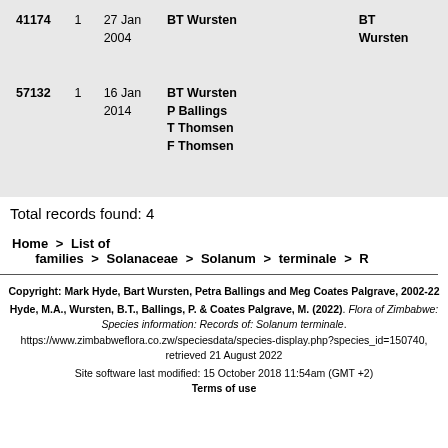| ID | # | Date | Collector | Det. |
| --- | --- | --- | --- | --- |
| 41174 | 1 | 27 Jan 2004 | BT Wursten | BT Wursten |
| 57132 | 1 | 16 Jan 2014 | BT Wursten
P Ballings
T Thomsen
F Thomsen |  |
Total records found: 4
Home > List of families > Solanaceae > Solanum > terminale > R
Copyright: Mark Hyde, Bart Wursten, Petra Ballings and Meg Coates Palgrave, 2002-22
Hyde, M.A., Wursten, B.T., Ballings, P. & Coates Palgrave, M. (2022). Flora of Zimbabwe: Species information: Records of: Solanum terminale. https://www.zimbabweflora.co.zw/speciesdata/species-display.php?species_id=150740, retrieved 21 August 2022
Site software last modified: 15 October 2018 11:54am (GMT +2)
Terms of use